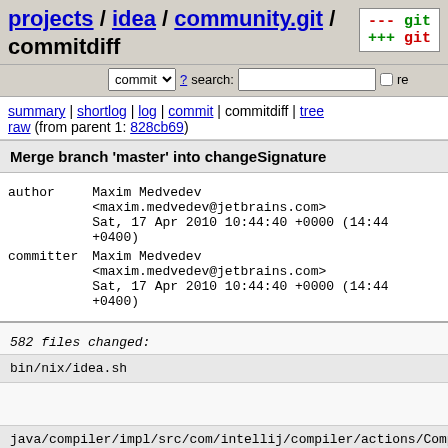projects / idea / community.git / commitdiff
commit search: re
summary | shortlog | log | commit | commitdiff | tree
raw (from parent 1: 828cb69)
Merge branch 'master' into changeSignature
| field | value |
| --- | --- |
| author | Maxim Medvedev
<maxim.medvedev@jetbrains.com>
Sat, 17 Apr 2010 10:44:40 +0000 (14:44 +0400) |
| committer | Maxim Medvedev
<maxim.medvedev@jetbrains.com>
Sat, 17 Apr 2010 10:44:40 +0000 (14:44 +0400) |
582 files changed:
bin/nix/idea.sh
java/compiler/impl/src/com/intellij/compiler/actions/Compil
java/compiler/impl/src/com/intellij/compiler/impl/Translat